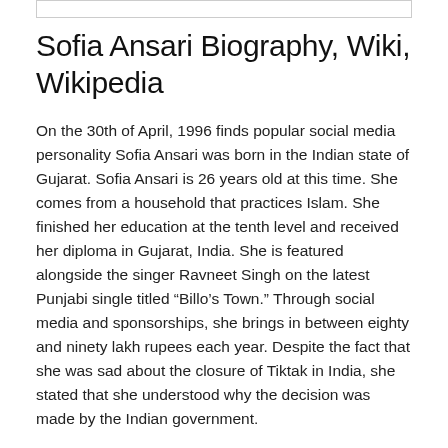Sofia Ansari Biography, Wiki, Wikipedia
On the 30th of April, 1996 finds popular social media personality Sofia Ansari was born in the Indian state of Gujarat. Sofia Ansari is 26 years old at this time. She comes from a household that practices Islam. She finished her education at the tenth level and received her diploma in Gujarat, India. She is featured alongside the singer Ravneet Singh on the latest Punjabi single titled “Billo’s Town.” Through social media and sponsorships, she brings in between eighty and ninety lakh rupees each year. Despite the fact that she was sad about the closure of Tiktak in India, she stated that she understood why the decision was made by the Indian government.
One of the most well-known personalities to emerge from India’s social media scene is Sofia Ansari. On TikTok and Instagram, Sofia Ansari is extremely well-known for her